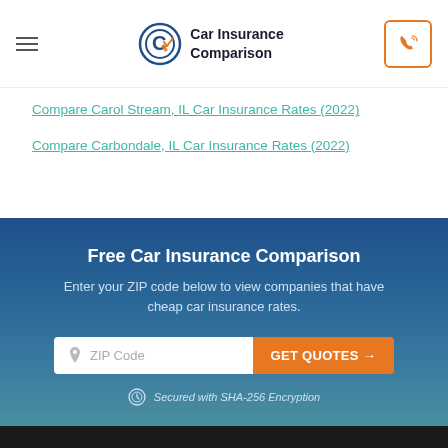Car Insurance Comparison
Compare Carol Stream, IL Car Insurance Rates (2022)
Compare Carbondale, IL Car Insurance Rates (2022)
Free Car Insurance Comparison
Enter your ZIP code below to view companies that have cheap car insurance rates.
ZIP Code  GET QUOTES →
Secured with SHA-256 Encryption